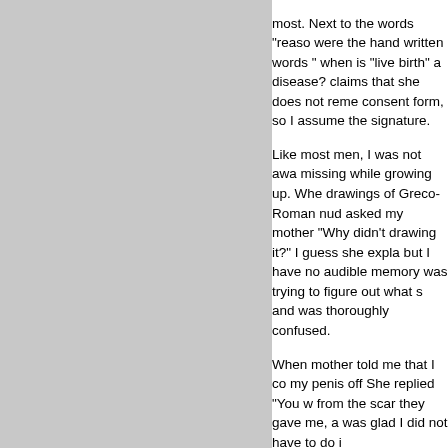most. Next to the words "reaso were the hand written words " when is "live birth" a disease? claims that she does not reme consent form, so I assume the signature.
Like most men, I was not awa missing while growing up. Whe drawings of Greco-Roman nud asked my mother "Why didn't drawing it?" I guess she expla but I have no audible memory was trying to figure out what s and was thoroughly confused.
When mother told me that I co my penis off She replied "You from the scar they gave me, a was glad I did not have to do i
When I grew older, in the back that foreskin thing was all abo knew that I wish I had been co surprised to find out that he w years later. I grew up in a fami good, so much so that when I